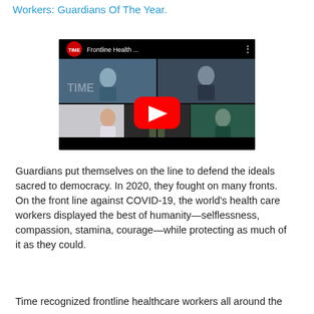Workers: Guardians Of The Year.
[Figure (screenshot): YouTube video embed thumbnail showing TIME magazine's 'Frontline Health...' video with a grid of healthcare worker photos and a red YouTube play button overlay]
Guardians put themselves on the line to defend the ideals sacred to democracy. In 2020, they fought on many fronts. On the front line against COVID-19, the world's health care workers displayed the best of humanity—selflessness, compassion, stamina, courage—while protecting as much of it as they could.
Time recognized frontline healthcare workers all around the